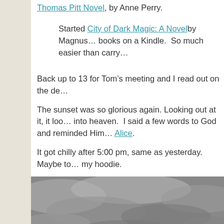Thomas Pitt Novel, by Anne Perry.
Started City of Dark Magic: A Novel by Magnus... books on a Kindle.  So much easier than carry...
Back up to 13 for Tom's meeting and I read out on the de...
The sunset was so glorious again. Looking out at it, it loo... into heaven.  I said a few words to God and reminded Him... Alice.
It got chilly after 5:00 pm, same as yesterday.  Maybe to... my hoodie.
[Figure (photo): Photograph of a cloudy sky, grayscale tones, clouds filling the frame.]